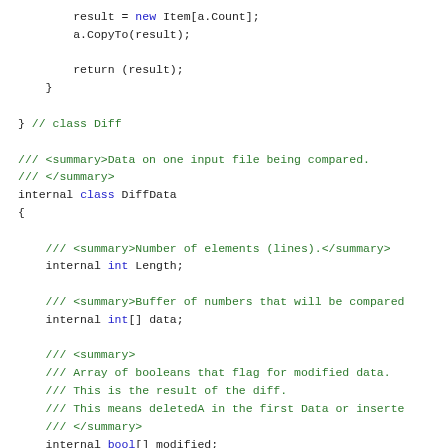result = new Item[a.Count];
    a.CopyTo(result);

    return (result);
  }

} // class Diff

/// <summary>Data on one input file being compared.
/// </summary>
internal class DiffData
{

  /// <summary>Number of elements (lines).</summary>
  internal int Length;

  /// <summary>Buffer of numbers that will be compared
  internal int[] data;

  /// <summary>
  /// Array of booleans that flag for modified data.
  /// This is the result of the diff.
  /// This means deletedA in the first Data or inserte
  /// </summary>
  internal bool[] modified;

  /// <summary>
  /// Initialize the Diff-Data buffer.
  /// </summary>
  /// <param name="data">reference to the buffer</para